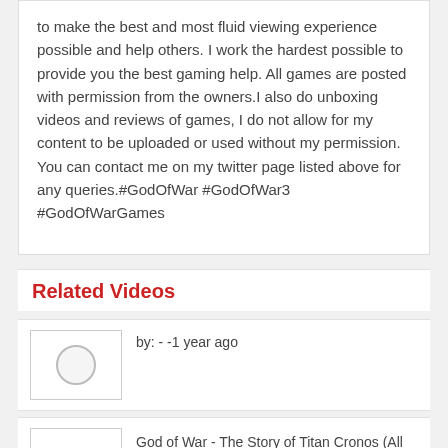to make the best and most fluid viewing experience possible and help others. I work the hardest possible to provide you the best gaming help. All games are posted with permission from the owners.I also do unboxing videos and reviews of games, I do not allow for my content to be uploaded or used without my permission. You can contact me on my twitter page listed above for any queries.#GodOfWar #GodOfWar3 #GodOfWarGames
Related Videos
by: - -1 year ago
God of War - The Story of Titan Cronos (All Cinematics & Cutscenes) [1080p]
by: DarkPlayerBrett - 2 year ago
All Boss Fights & Endings: Resident Evil 3 Villain (N...